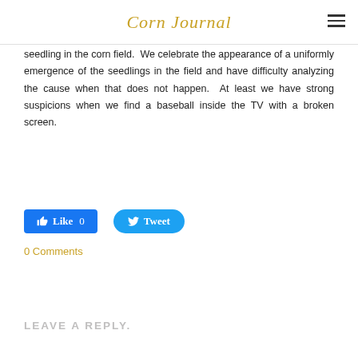Corn Journal
seedling in the corn field.  We celebrate the appearance of a uniformly emergence of the seedlings in the field and have difficulty analyzing the cause when that does not happen.  At least we have strong suspicions when we find a baseball inside the TV with a broken screen.
[Figure (other): Social sharing buttons: Like 0 (Facebook blue button) and Tweet (Twitter blue rounded button)]
0 Comments
LEAVE A REPLY.